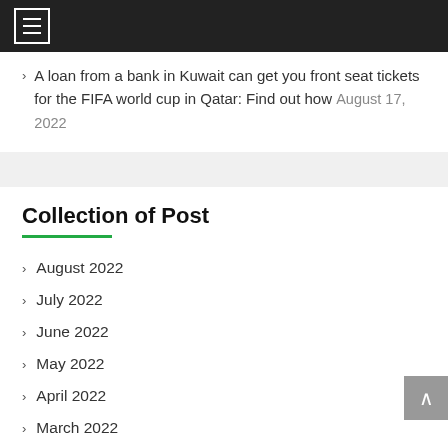[hamburger menu icon]
A loan from a bank in Kuwait can get you front seat tickets for the FIFA world cup in Qatar: Find out how August 17, 2022
Collection of Post
August 2022
July 2022
June 2022
May 2022
April 2022
March 2022